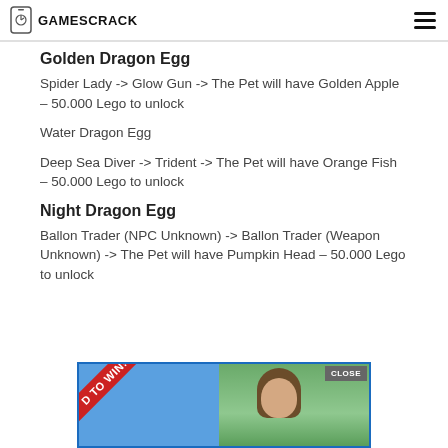GAMESCRACK
Golden Dragon Egg
Spider Lady -> Glow Gun -> The Pet will have Golden Apple – 50.000 Lego to unlock
Water Dragon Egg
Deep Sea Diver -> Trident -> The Pet will have Orange Fish – 50.000 Lego to unlock
Night Dragon Egg
Ballon Trader (NPC Unknown) -> Ballon Trader (Weapon Unknown) -> The Pet will have Pumpkin Head – 50.000 Lego to unlock
[Figure (photo): Advertisement banner with red ribbon 'D TO WIN!' text and woman's photo on right side, with CLOSE button]